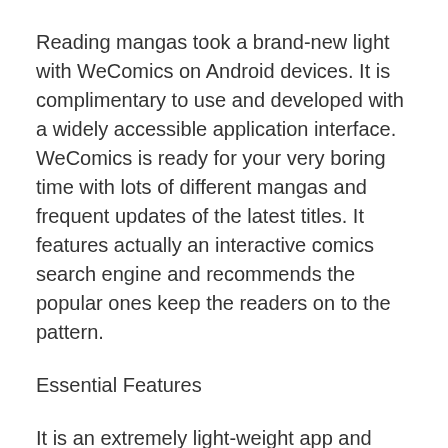Reading mangas took a brand-new light with WeComics on Android devices. It is complimentary to use and developed with a widely accessible application interface. WeComics is ready for your very boring time with lots of different mangas and frequent updates of the latest titles. It features actually an interactive comics search engine and recommends the popular ones keep the readers on to the pattern.
Essential Features
It is an extremely light-weight app and supports the majority of the capable Android gadgets.
This app offers day-to-day updates and uses